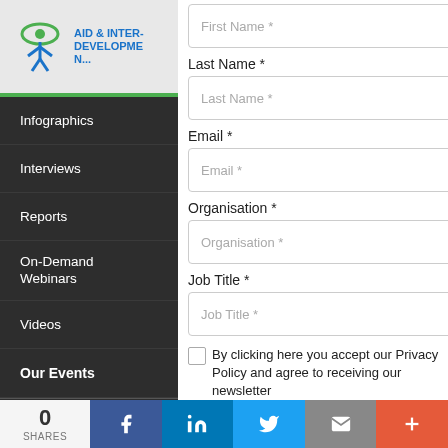[Figure (logo): Aid & International Development Forum logo with green eye/person icon and blue text]
Infographics
Interviews
Reports
On-Demand Webinars
Videos
Our Events
Past Events
First Name *
Last Name *
Email *
Organisation *
Job Title *
By clicking here you accept our Privacy Policy and agree to receiving our newsletter
By clicking submit you are consenting to our privacy policy and terms of use.
0 SHARES